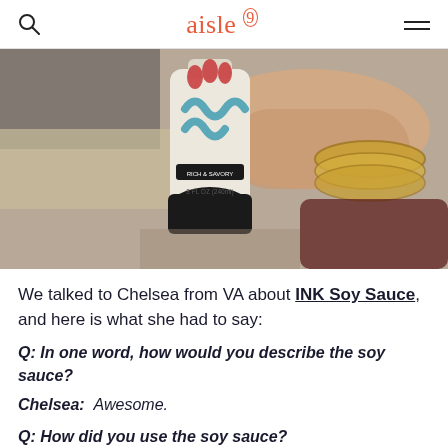aisle 9
[Figure (photo): A hand with red nail polish and a gold cuff bracelet holding a small bottle of INK Soy Sauce. The bottle is pale/cream colored with blue squiggly lettering and a black cap. The label reads 'RICH & SAVORY' and '8 FL OZ (240ml)'.]
We talked to Chelsea from VA about INK Soy Sauce, and here is what she had to say:
Q: In one word, how would you describe the soy sauce?
Chelsea: Awesome.
Q: How did you use the soy sauce?